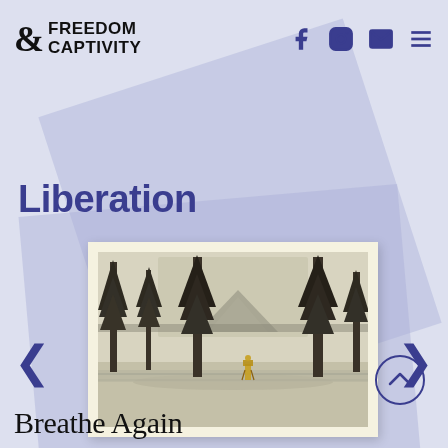& FREEDOM & CAPTIVITY
Liberation
[Figure (illustration): Black and white pencil or etching artwork showing a forest scene with tall pine trees, a mountain in the background, and a small human figure standing near the center-bottom of the composition. The artwork is mounted on a cream/ivory mat board.]
Breathe Again